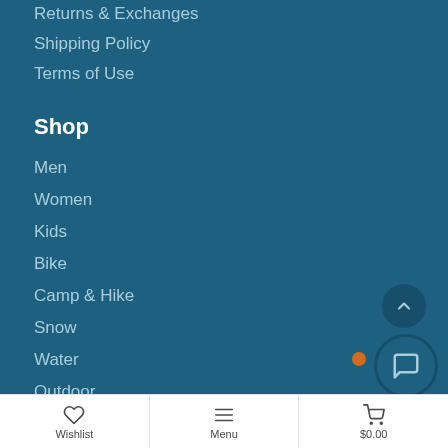Returns & Exchanges
Shipping Policy
Terms of Use
Shop
Men
Women
Kids
Bike
Camp & Hike
Snow
Water
Outdoor
Locations
Wishlist | Menu | $0.00